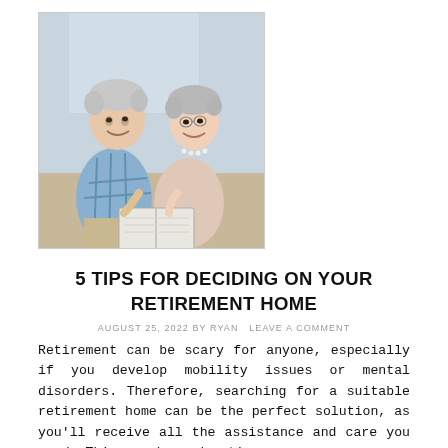[Figure (photo): Two elderly people, a man and a woman, smiling and looking at a book together]
5 TIPS FOR DECIDING ON YOUR RETIREMENT HOME
AUGUST 25, 2022 BY RYAN LEAVE A COMMENT
Retirement can be scary for anyone, especially if you develop mobility issues or mental disorders. Therefore, searching for a suitable retirement home can be the perfect solution, as you'll receive all the assistance and care you need. This can be a daunting